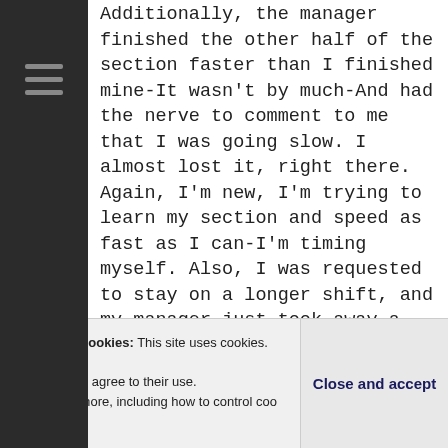Additionally, the manager finished the other half of the section faster than I finished mine-It wasn't by much-And had the nerve to comment to me that I was going slow. I almost lost it, right there. Again, I'm new, I'm trying to learn my section and speed as fast as I can-I'm timing myself. Also, I was requested to stay on a longer shift, and my manager just took away a good forty-five minutes to an hour worth of work from me and tops it off by saying I'm going slow. That is feked up! I almost lost it right there. It took
Privacy & Cookies: This site uses cookies. By continuing to use this website, you agree to their use. To find out more, including how to control cookies, see here: Cookie Policy
period, I hadn't prepared any lunch. Had it been